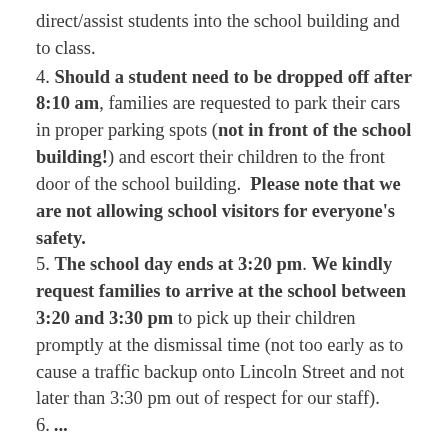direct/assist students into the school building and to class.
4. Should a student need to be dropped off after 8:10 am, families are requested to park their cars in proper parking spots (not in front of the school building!) and escort their children to the front door of the school building.  Please note that we are not allowing school visitors for everyone's safety.
5. The school day ends at 3:20 pm. We kindly request families to arrive at the school between 3:20 and 3:30 pm to pick up their children promptly at the dismissal time (not too early as to cause a traffic backup onto Lincoln Street and not later than 3:30 pm out of respect for our staff).
6. ...